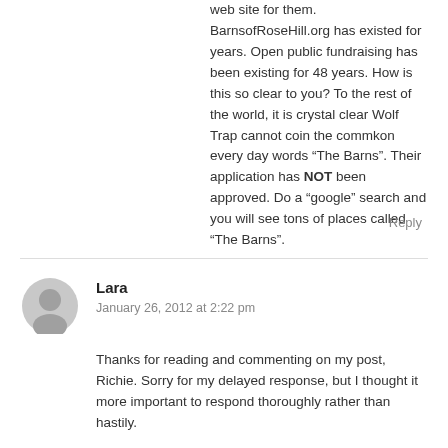web site for them. BarnsofRoseHill.org has existed for years. Open public fundraising has been existing for 48 years. How is this so clear to you? To the rest of the world, it is crystal clear Wolf Trap cannot coin the commkon every day words “The Barns”. Their application has NOT been approved. Do a “google” search and you will see tons of places called “The Barns”.
Reply
Lara
January 26, 2012 at 2:22 pm
Thanks for reading and commenting on my post, Richie. Sorry for my delayed response, but I thought it more important to respond thoroughly rather than hastily.